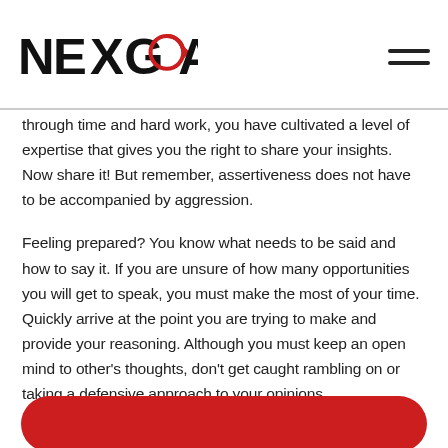NEXGOAL
through time and hard work, you have cultivated a level of expertise that gives you the right to share your insights. Now share it! But remember, assertiveness does not have to be accompanied by aggression.
Feeling prepared? You know what needs to be said and how to say it. If you are unsure of how many opportunities you will get to speak, you must make the most of your time. Quickly arrive at the point you are trying to make and provide your reasoning. Although you must keep an open mind to other's thoughts, don't get caught rambling on or taking a defensive approach to your opinions.
[Figure (other): Red rounded rectangle button at bottom of page]